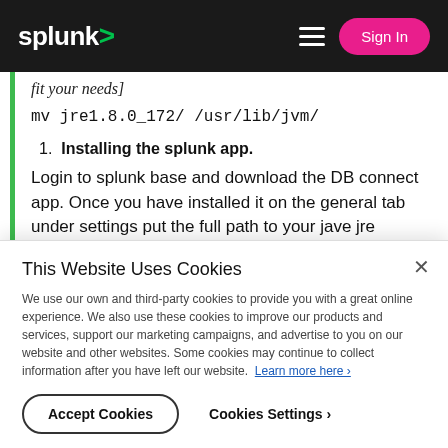splunk> Sign In
fit your needs]
mv jre1.8.0_172/ /usr/lib/jvm/
1. Installing the splunk app.
Login to splunk base and download the DB connect app. Once you have installed it on the general tab under settings put the full path to your jave jre
This Website Uses Cookies
We use our own and third-party cookies to provide you with a great online experience. We also use these cookies to improve our products and services, support our marketing campaigns, and advertise to you on our website and other websites. Some cookies may continue to collect information after you have left our website. Learn more here ›
Accept Cookies
Cookies Settings ›